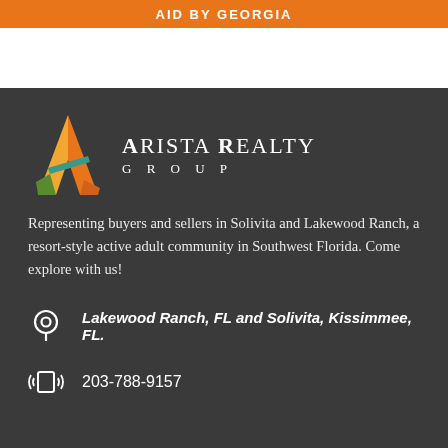AID BY GEORGIA
[Figure (logo): Arista Realty Group logo with colorful A symbol and white text]
Representing buyers and sellers in Solivita and Lakewood Ranch, a resort-style active adult community in Southwest Florida. Come explore with us!
Lakewood Ranch, FL and Solivita, Kissimmee, FL.
203-788-9157